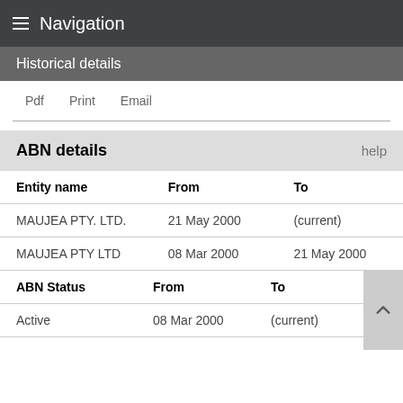Navigation
Historical details
Pdf   Print   Email
ABN details   help
| Entity name | From | To |
| --- | --- | --- |
| MAUJEA PTY. LTD. | 21 May 2000 | (current) |
| MAUJEA PTY LTD | 08 Mar 2000 | 21 May 2000 |
| ABN Status | From | To |
| --- | --- | --- |
| Active | 08 Mar 2000 | (current) |